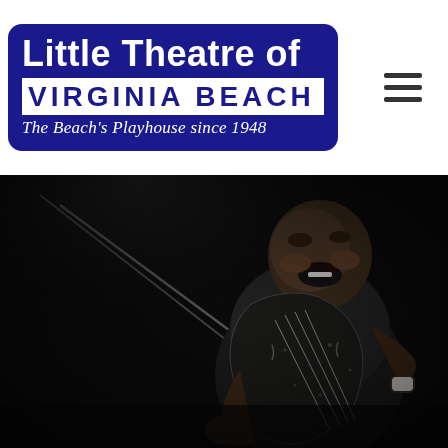[Figure (logo): Little Theatre of Virginia Beach logo: dark navy blue rounded rectangle containing 'Little Theatre of' in bold white text, 'VIRGINIA BEACH' in large bold navy text on white background bar, and 'The Beach's Playhouse since 1948' in white italic text below. A hamburger menu icon (three horizontal lines) appears to the right of the logo on a white background.]
[Figure (photo): Black and white photograph of a large man passionately playing a cello (or double bass) and singing into a microphone. He appears to be performing on stage. The background is dark/black. The image captures him mid-performance with great emotion.]